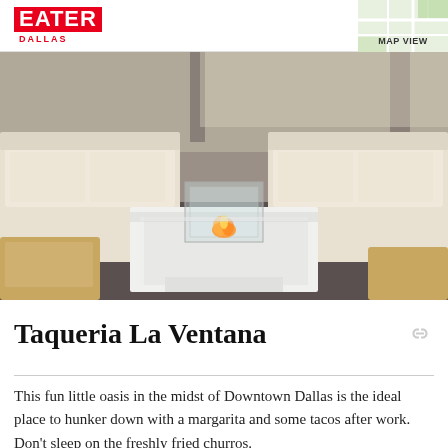EATER DALLAS | MAP VIEW
[Figure (photo): Interior lounge area with cream-colored sofas around a white square coffee table with a glass fire feature on top, modern restaurant or bar setting]
Taqueria La Ventana
This fun little oasis in the midst of Downtown Dallas is the ideal place to hunker down with a margarita and some tacos after work. Don't sleep on the freshly fried churros.